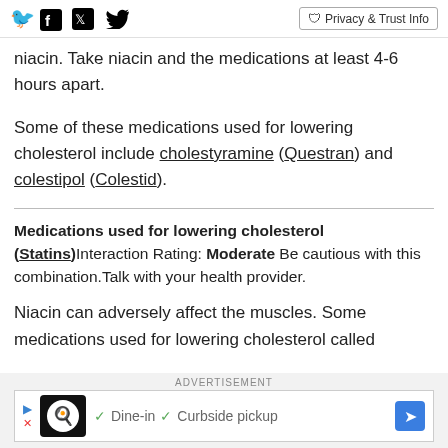Facebook Twitter | Privacy & Trust Info
niacin. Take niacin and the medications at least 4-6 hours apart.
Some of these medications used for lowering cholesterol include cholestyramine (Questran) and colestipol (Colestid).
Medications used for lowering cholesterol (Statins) Interaction Rating: Moderate Be cautious with this combination. Talk with your health provider.
Niacin can adversely affect the muscles. Some medications used for lowering cholesterol called
ADVERTISEMENT